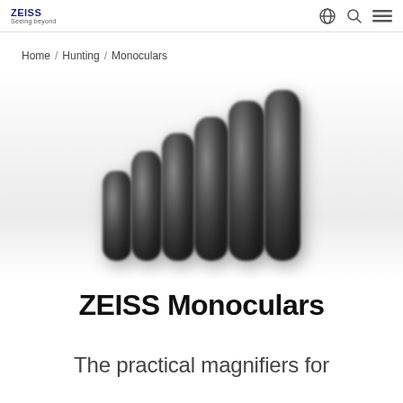ZEISS Seeing beyond
Home / Hunting / Monoculars
[Figure (photo): A row of six ZEISS monoculars arranged in ascending height order from left to right, photographed against a light gray/white background. The monoculars are dark/black cylindrical devices that appear blurred/soft focus.]
ZEISS Monoculars
The practical magnifiers for